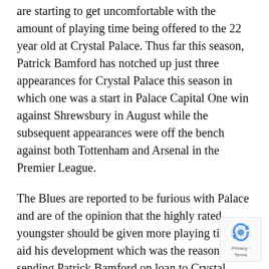are starting to get uncomfortable with the amount of playing time being offered to the 22 year old at Crystal Palace. Thus far this season, Patrick Bamford has notched up just three appearances for Crystal Palace this season in which one was a start in Palace Capital One win against Shrewsbury in August while the subsequent appearances were off the bench against both Tottenham and Arsenal in the Premier League.
The Blues are reported to be furious with Palace and are of the opinion that the highly rated youngster should be given more playing time to aid his development which was the reason for sending Patrick Bamford on loan to Crystal Palace in the first place. According to the report, a loophole with the loan system in England will enable the blues recall the player to either play with the first team or the reserve team.